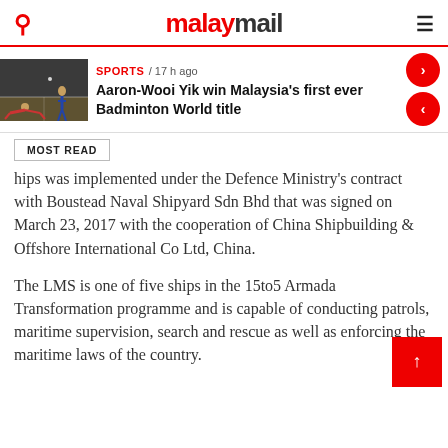malaymail
[Figure (photo): Badminton players on court, one player on ground]
SPORTS / 17 h ago
Aaron-Wooi Yik win Malaysia's first ever Badminton World title
MOST READ
hips was implemented under the Defence Ministry's contract with Boustead Naval Shipyard Sdn Bhd that was signed on March 23, 2017 with the cooperation of China Shipbuilding & Offshore International Co Ltd, China.
The LMS is one of five ships in the 15to5 Armada Transformation programme and is capable of conducting patrols, maritime supervision, search and rescue as well as enforcing the maritime laws of the country.